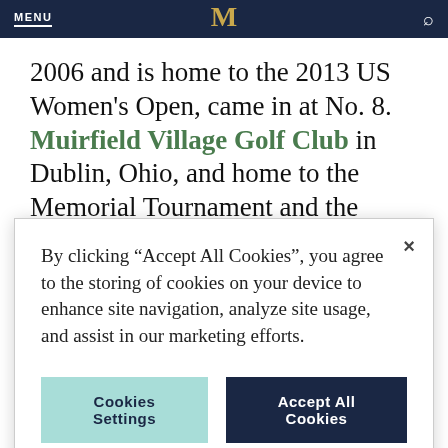MENU
2006 and is home to the 2013 US Women's Open, came in at No. 8. Muirfield Village Golf Club in Dublin, Ohio, and home to the Memorial Tournament and the 2012 Presidents
By clicking “Accept All Cookies”, you agree to the storing of cookies on your device to enhance site navigation, analyze site usage, and assist in our marketing efforts.
Cookies Settings
Accept All Cookies